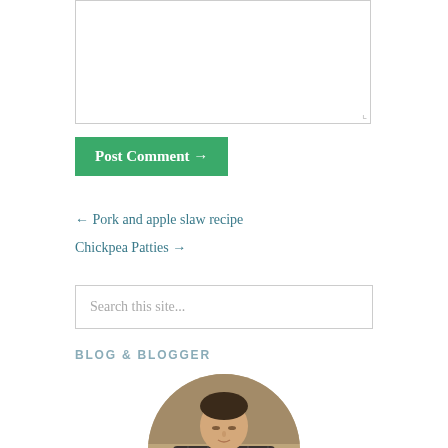[Figure (other): Text area input box (comment form field), mostly empty with resize handle in bottom right corner]
Post Comment →
← Pork and apple slaw recipe
Chickpea Patties →
Search this site...
BLOG & BLOGGER
[Figure (photo): Circular cropped photo of a person (young man in plaid/flannel shirt) in a kitchen setting, looking downward]